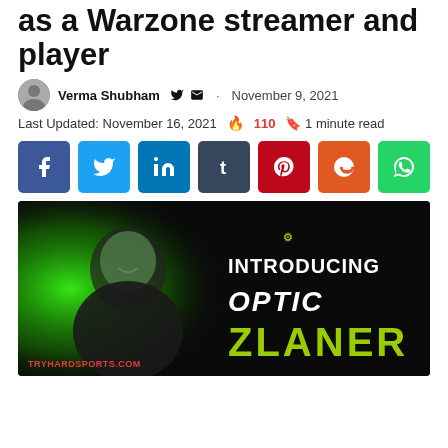as a Warzone streamer and player
Verma Shubham · November 9, 2021
Last Updated: November 16, 2021 🔥 110 🔖 1 minute read
[Figure (other): Social share buttons: Facebook, Twitter, LinkedIn, Tumblr, Pinterest, Reddit, WhatsApp]
[Figure (photo): Promotional image introducing OpTic Zlaner as a Warzone streamer. Man smiling in front of green background with text 'INTRODUCING OPTIC ZLANER' and OpTic Gaming logo. Watermark: TRYHARDSPORTS.COM]